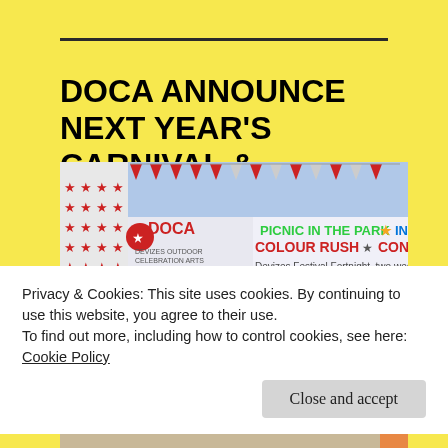DOCA ANNOUNCE NEXT YEAR'S CARNIVAL & STREET FESTIVAL DATES
[Figure (photo): Outdoor festival photo showing a DOCA banner with text 'PICNIC IN THE PARK', 'COLOUR RUSH', 'CONFETTI BATTLE', 'INTERNATIONAL', 'Devizes Festival Fortnight, two weeks of amazing'. Social media handles visible: @DOCA_info, @devizesoutdoorcelebrat..., @docavilla. A performer on a ladder playing trumpet with colourful bunting above.]
Privacy & Cookies: This site uses cookies. By continuing to use this website, you agree to their use.
To find out more, including how to control cookies, see here: Cookie Policy
Close and accept